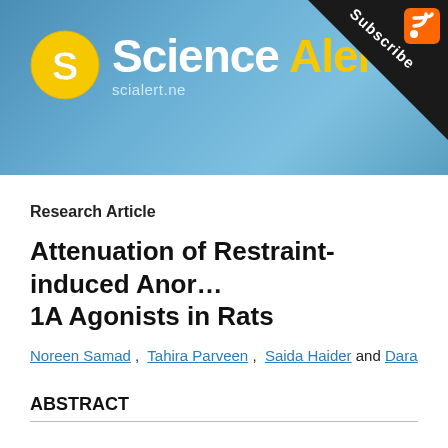[Figure (logo): Science Alert logo with yellow circular S logo, white 'Science' text and yellow 'Alert' text, scialert.net URL, on blue gradient background with black subscribe corner and RSS icon]
Research Article
Attenuation of Restraint-induced Anor… 1A Agonists in Rats
Noreen Samad , Tahira Parveen , Saida Haider and Darakhsh…
ABSTRACT